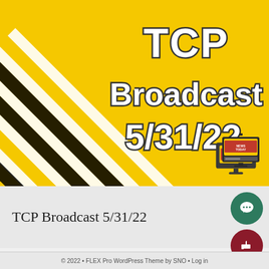[Figure (illustration): Yellow background broadcast graphic with diagonal black and white stripes on left side, bold white text reading 'TCP Broadcast 5/31/22' with dark outline, and a small news desk monitor icon in bottom right corner]
TCP Broadcast 5/31/22
© 2022 • FLEX Pro WordPress Theme by SNO • Log in